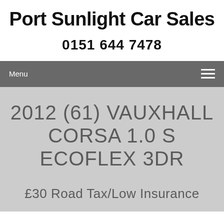Port Sunlight Car Sales
0151 644 7478
Menu
2012 (61) VAUXHALL CORSA 1.0 S ECOFLEX 3DR
£30 Road Tax/Low Insurance